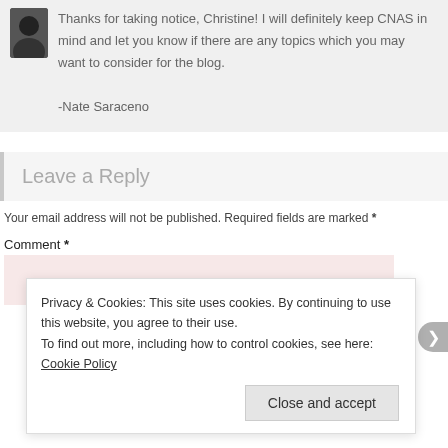Thanks for taking notice, Christine! I will definitely keep CNAS in mind and let you know if there are any topics which you may want to consider for the blog.

-Nate Saraceno
Leave a Reply
Your email address will not be published. Required fields are marked *
Comment *
Privacy & Cookies: This site uses cookies. By continuing to use this website, you agree to their use.
To find out more, including how to control cookies, see here: Cookie Policy
Close and accept